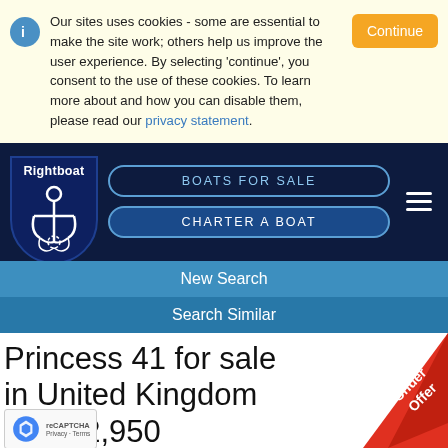Our sites uses cookies - some are essential to make the site work; others help us improve the user experience. By selecting 'continue', you consent to the use of these cookies. To learn more about and how you can disable them, please read our privacy statement.
[Figure (screenshot): Rightboat website navigation bar with logo (anchor shield), BOATS FOR SALE and CHARTER A BOAT buttons, and hamburger menu]
New Search
Search Similar
Princess 41 for sale in United Kingdom for £42,950
[Figure (illustration): Under Offer diagonal red badge in top right corner]
[Figure (photo): Bottom strip showing partial boat photo]